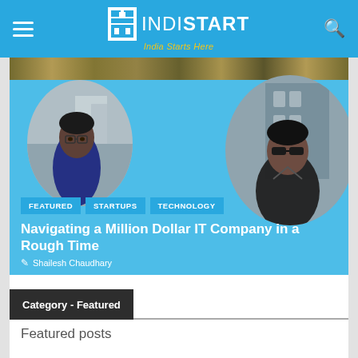INDISTART — India Starts Here
[Figure (photo): Featured article card with blue background, two circular portrait photos of men, category tags (FEATURED, STARTUPS, TECHNOLOGY), article title and author name]
Category - Featured
Featured posts